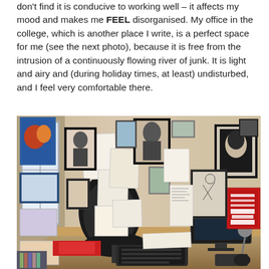don't find it is conducive to working well – it affects my mood and makes me FEEL disorganised. My office in the college, which is another place I write, is a perfect space for me (see the next photo), because it is free from the intrusion of a continuously flowing river of junk. It is light and airy and (during holiday times, at least) undisturbed, and I feel very comfortable there.
[Figure (photo): A college office with a wooden desk, black office chair, computer monitor and keyboard, and walls covered with framed pictures, posters, and pinned papers/notes. A window is visible on the left side.]